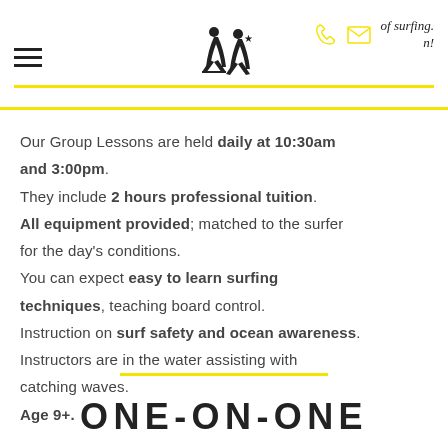Navigation header with hamburger menu, logo (two surfer silhouettes), phone icon, email icon, and text: 'of surfing. n!'
Our Group Lessons are held daily at 10:30am and 3:00pm. They include 2 hours professional tuition. All equipment provided; matched to the surfer for the day's conditions. You can expect easy to learn surfing techniques, teaching board control. Instruction on surf safety and ocean awareness. Instructors are in the water assisting with catching waves. Age 9+.
ONE-ON-ONE